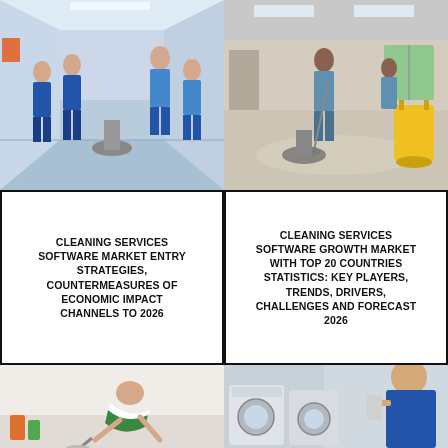[Figure (photo): Cleaning team in blue uniforms working in a hospital corridor with floor cleaning equipment]
[Figure (photo): Workers cleaning a large empty room floor with mop and yellow bucket cart]
CLEANING SERVICES SOFTWARE MARKET ENTRY STRATEGIES, COUNTERMEASURES OF ECONOMIC IMPACT CHANNELS TO 2026
CLEANING SERVICES SOFTWARE GROWTH MARKET WITH TOP 20 COUNTRIES STATISTICS: KEY PLAYERS, TRENDS, DRIVERS, CHALLENGES AND FORECAST 2026
[Figure (photo): Female cleaner in green apron bending down with mop to clean floor]
[Figure (photo): Cleaner in blue uniform standing next to washing machine in laundry room]